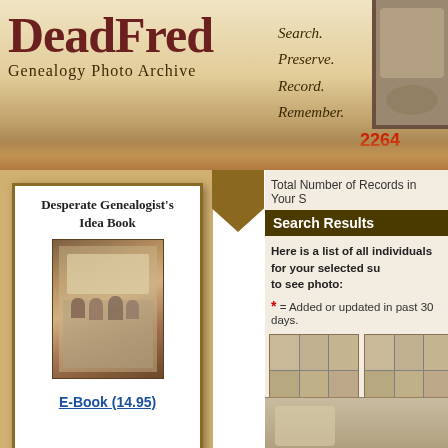DeadFred Genealogy Photo Archive — Search. Preserve. Record. Remember. — 2264
Desperate Genealogist's Idea Book
E-Book (14.95)
Total Number of Records in Your S
Search Results
Here is a list of all individuals for your selected su to see photo:
* = Added or updated in past 30 days.
[Figure (photo): Group photo thumbnail - Dell, Council Bluffs IA]
Dell
Council Bluffs  IA
[Figure (photo): Group photo thumbnail - Dell, Council Bluffs IA]
Dell
Council Bluffs  IA
Dead Fred's Genealogy Photo Archive, a free, fun photo genealogy research web site devoted to helping